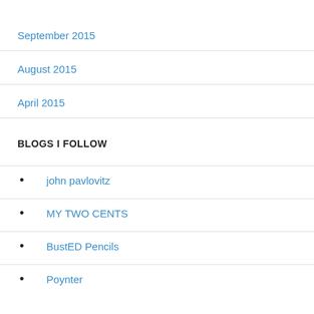September 2015
August 2015
April 2015
BLOGS I FOLLOW
john pavlovitz
MY TWO CENTS
BustED Pencils
Poynter